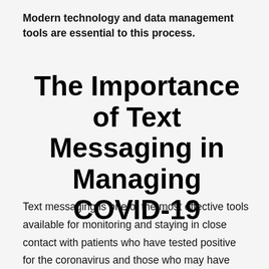Modern technology and data management tools are essential to this process.
The Importance of Text Messaging in Managing COVID-19
Text messaging is one of the most effective tools available for monitoring and staying in close contact with patients who have tested positive for the coronavirus and those who may have been exposed. The activities that